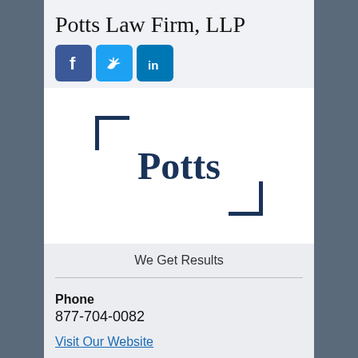Potts Law Firm, LLP
[Figure (logo): Social media icons: Facebook (blue square with f), Twitter (light blue square with bird), LinkedIn (teal square with in)]
[Figure (logo): Potts Law Firm logo with bracket marks top-left and bottom-right, word 'Potts' in dark navy serif font on light gray background]
We Get Results
Phone
877-704-0082
Visit Our Website